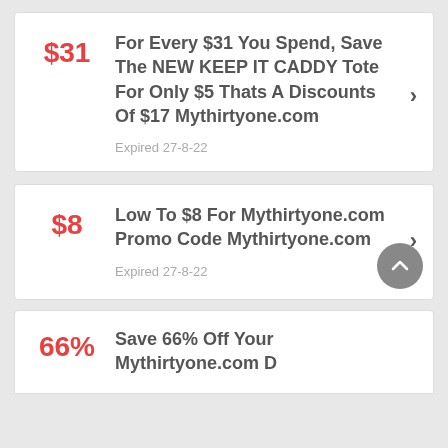$31
For Every $31 You Spend, Save The NEW KEEP IT CADDY Tote For Only $5 Thats A Discounts Of $17 Mythirtyone.com
Expired 27-8-22
$8
Low To $8 For Mythirtyone.com Promo Code Mythirtyone.com
Expired 27-8-22
66%
Save 66% Off Your Mythirtyone.com D...